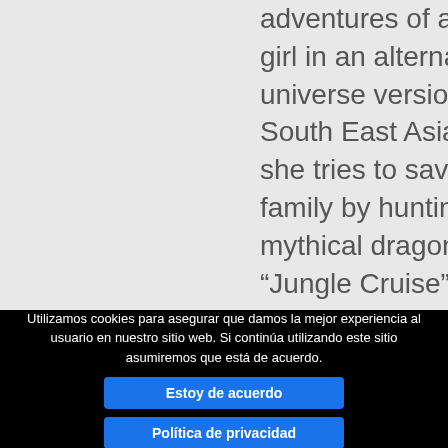adventures of a young girl in an alternate universe version of South East Asia, as she tries to save her family by hunting for a mythical dragon. “Jungle Cruise” is nominated for Score of the Year and Best Action/Adventure/T
Utilizamos cookies para asegurar que damos la mejor experiencia al usuario en nuestro sitio web. Si continúa utilizando este sitio asumiremos que está de acuerdo.
Estoy de acuerdo
Política de privacidad